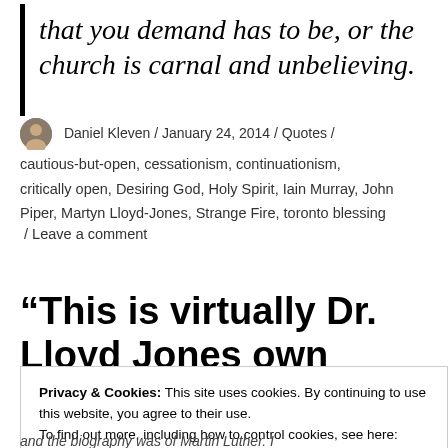that you demand has to be, or the church is carnal and unbelieving.
Daniel Kleven / January 24, 2014 / Quotes / cautious-but-open, cessationism, continuationism, critically open, Desiring God, Holy Spirit, Iain Murray, John Piper, Martyn Lloyd-Jones, Strange Fire, toronto blessing / Leave a comment
“This is virtually Dr. Lloyd Jones own position”
Privacy & Cookies: This site uses cookies. By continuing to use this website, you agree to their use.
To find out more, including how to control cookies, see here: Cookie Policy
and the biography was of Martin Luther. I